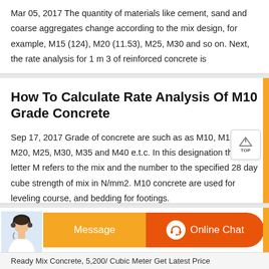Mar 05, 2017 The quantity of materials like cement, sand and coarse aggregates change according to the mix design, for example, M15 (124), M20 (11.53), M25, M30 and so on. Next, the rate analysis for 1 m 3 of reinforced concrete is
How To Calculate Rate Analysis Of M10 Grade Concrete
Sep 17, 2017 Grade of concrete are such as as M10, M15, M20, M25, M30, M35 and M40 e.t.c. In this designation the letter M refers to the mix and the number to the specified 28 day cube strength of mix in N/mm2. M10 concrete are used for leveling course, and bedding for footings.
[Figure (screenshot): Chat bar with agent avatar, orange Message button, and dark orange Online Chat button with headset icon]
Ready Mix Concrete, 5,200/ Cubic Meter Get Latest Price